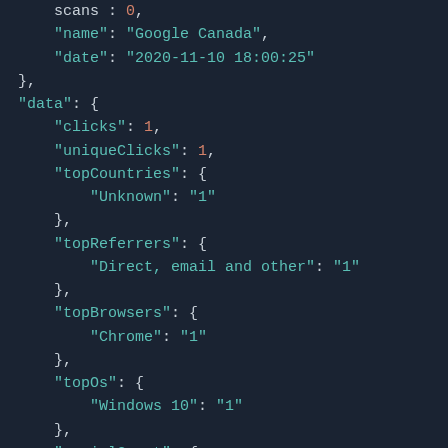[Figure (screenshot): Dark-themed code editor screenshot showing a JSON object with fields: scans (partial, top), name: 'Google Canada', date: '2020-11-10 18:00:25', and a data object containing clicks: 1, uniqueClicks: 1, topCountries: { Unknown: '1' }, topReferrers: { 'Direct, email and other': '1' }, topBrowsers: { Chrome: '1' }, topOs: { 'Windows 10': '1' }, and a partial socialCount field at the bottom.]